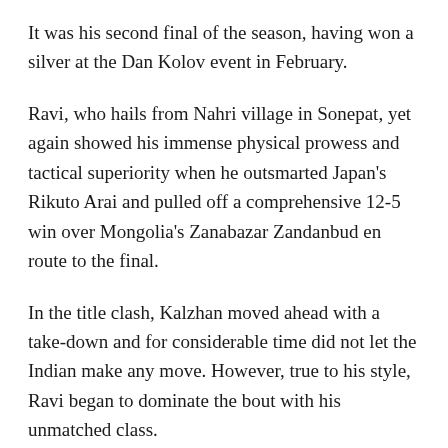It was his second final of the season, having won a silver at the Dan Kolov event in February.
Ravi, who hails from Nahri village in Sonepat, yet again showed his immense physical prowess and tactical superiority when he outsmarted Japan's Rikuto Arai and pulled off a comprehensive 12-5 win over Mongolia's Zanabazar Zandanbud en route to the final.
In the title clash, Kalzhan moved ahead with a take-down and for considerable time did not let the Indian make any move. However, true to his style, Ravi began to dominate the bout with his unmatched class.